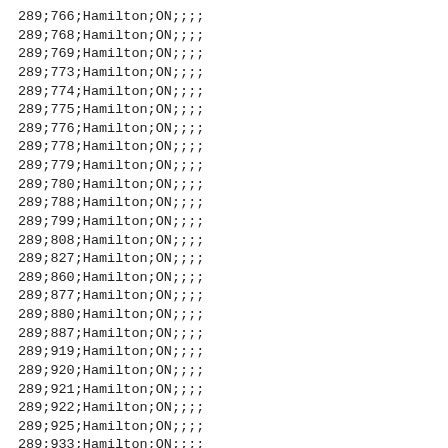289;766;Hamilton;ON;;;;
289;768;Hamilton;ON;;;;
289;769;Hamilton;ON;;;;
289;773;Hamilton;ON;;;;
289;774;Hamilton;ON;;;;
289;775;Hamilton;ON;;;;
289;776;Hamilton;ON;;;;
289;778;Hamilton;ON;;;;
289;779;Hamilton;ON;;;;
289;780;Hamilton;ON;;;;
289;788;Hamilton;ON;;;;
289;799;Hamilton;ON;;;;
289;808;Hamilton;ON;;;;
289;827;Hamilton;ON;;;;
289;860;Hamilton;ON;;;;
289;877;Hamilton;ON;;;;
289;880;Hamilton;ON;;;;
289;887;Hamilton;ON;;;;
289;919;Hamilton;ON;;;;
289;920;Hamilton;ON;;;;
289;921;Hamilton;ON;;;;
289;922;Hamilton;ON;;;;
289;925;Hamilton;ON;;;;
289;933;Hamilton;ON;;;;
289;941;Hamilton;ON;;;;
289;949;Hamilton;ON;;;;
289;975;Hamilton;ON;;;;
289;978;Hamilton;ON;;;;
289;994;Hamilton;ON;;;;
365;227;Hamilton;ON;;;;